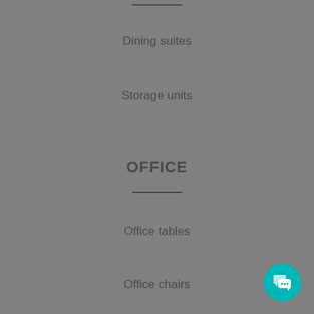Dining suites
Storage units
OFFICE
Office tables
Office chairs
Cupboards & racks
Computer tables & study desks
Conference tables
MATTRESSES
Coir mattresses